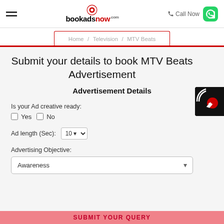bookadsnow.com — Call Now
Home / Television / MTV Beats
Submit your details to book MTV Beats Advertisement
Advertisement Details
Is your Ad creative ready:
Yes  No
Ad length (Sec): 10
Advertising Objective:
Awareness
SUBMIT YOUR QUERY